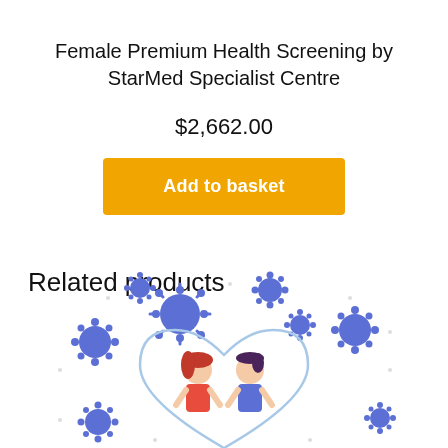Female Premium Health Screening by StarMed Specialist Centre
$2,662.00
Add to basket
Related products
[Figure (illustration): Health screening illustration showing two people (a woman with red hair and a man) under a heart shape, surrounded by blue virus/germ icons and small dots on a white background.]